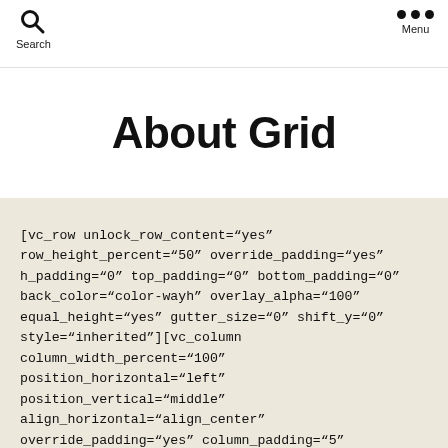Search   Menu
About Grid
[vc_row unlock_row_content="yes" row_height_percent="50" override_padding="yes" h_padding="0" top_padding="0" bottom_padding="0" back_color="color-wayh" overlay_alpha="100" equal_height="yes" gutter_size="0" shift_y="0" style="inherited"][vc_column column_width_percent="100" position_horizontal="left" position_vertical="middle" align_horizontal="align_center" override_padding="yes" column_padding="5"